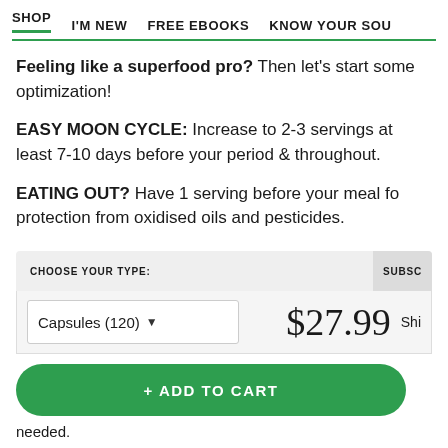SHOP   I'M NEW   FREE EBOOKS   KNOW YOUR SOU
Feeling like a superfood pro? Then let's start some optimization!
EASY MOON CYCLE: Increase to 2-3 servings at least 7-10 days before your period & throughout.
EATING OUT? Have 1 serving before your meal for protection from oxidised oils and pesticides.
CHOOSE YOUR TYPE:
Capsules (120)   $27.99   Shi
+ ADD TO CART
needed.